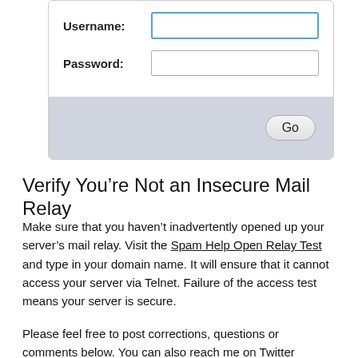[Figure (screenshot): Login form with Username and Password fields, a blue-bordered username input (active/focused), a password input, and a gray footer bar with a 'Go' button]
Verify You’re Not an Insecure Mail Relay
Make sure that you haven’t inadvertently opened up your server’s mail relay. Visit the Spam Help Open Relay Test and type in your domain name. It will ensure that it cannot access your server via Telnet. Failure of the access test means your server is secure.
Please feel free to post corrections, questions or comments below. You can also reach me on Twitter @reifman or email me